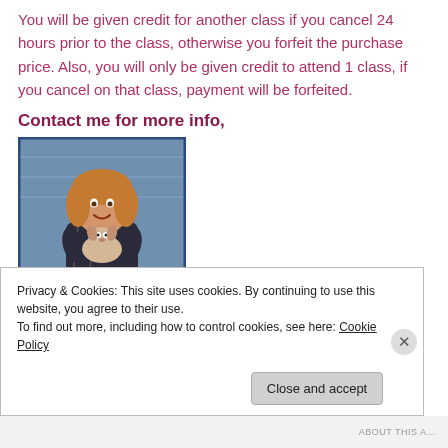You will be given credit for another class if you cancel 24 hours prior to the class, otherwise you forfeit the purchase price. Also, you will only be given credit to attend 1 class, if you cancel on that class, payment will be forfeited.
Contact me for more info,
[Figure (photo): A smiling woman with blonde hair holding a small dog, standing outdoors near a blue siding wall. She is wearing a plaid jacket over a blue top.]
Privacy & Cookies: This site uses cookies. By continuing to use this website, you agree to their use.
To find out more, including how to control cookies, see here: Cookie Policy